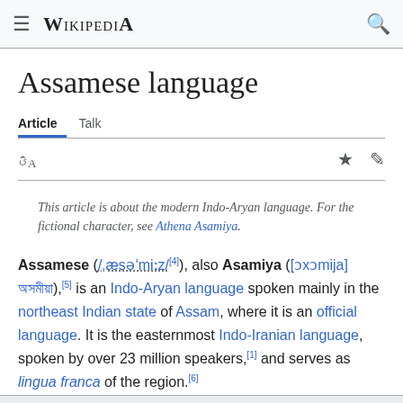Wikipedia
Assamese language
Article  Talk
This article is about the modern Indo-Aryan language. For the fictional character, see Athena Asamiya.
Assamese (/ˌæsəˈmiːz/[4]), also Asamiya ([ɔxɔmija] অসমীয়া),[5] is an Indo-Aryan language spoken mainly in the northeast Indian state of Assam, where it is an official language. It is the easternmost Indo-Iranian language, spoken by over 23 million speakers,[1] and serves as lingua franca of the region.[6]